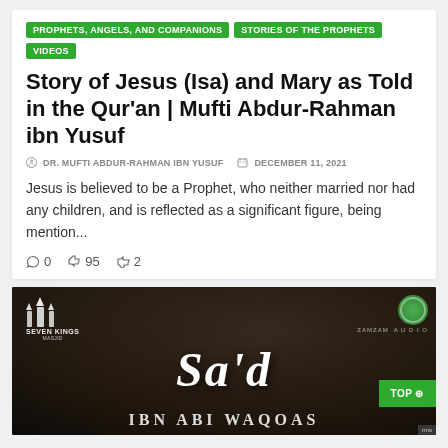PROPHETS, ANGELS, AND COMPANIONS
STORIES OF THE PROPHETS
VIDEOS
Story of Jesus (Isa) and Mary as Told in the Qur'an | Mufti Abdur-Rahman ibn Yusuf
DR. MUFTI ABDUR-RAHMAN IBN YUSUF   DECEMBER 11, 2021
Jesus is believed to be a Prophet, who neither married nor had any children, and is reflected as a significant figure, being mention...
0   95   2
[Figure (screenshot): Dark atmospheric image showing text 'SA'D IBN ABI WAQOAS' with Seven Kings Masjid logo and Zamzam badge, with a green TOP button overlay]